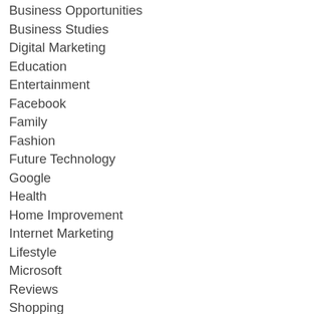Business Opportunities
Business Studies
Digital Marketing
Education
Entertainment
Facebook
Family
Fashion
Future Technology
Google
Health
Home Improvement
Internet Marketing
Lifestyle
Microsoft
Reviews
Shopping
Social Media
Sport